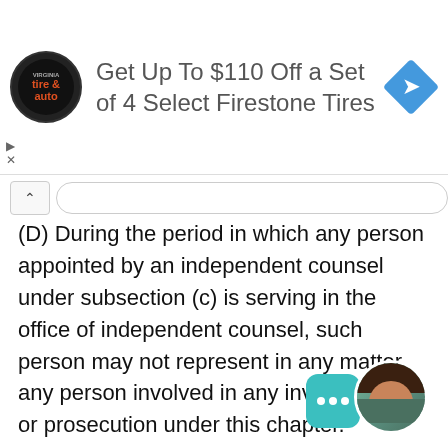[Figure (infographic): Advertisement banner: Virginia Tire & Auto logo with text 'Get Up To $110 Off a Set of 4 Select Firestone Tires' and a blue diamond navigation icon]
(D) During the period in which any person appointed by an independent counsel under subsection (c) is serving in the office of independent counsel, such person may not represent in any matter any person involved in any investigation or prosecution under this chapter.
(2) Post employment restrictions on independent counsel and appointees.–(A) Each independent counsel and each person appointed by that independent counsel under subsection (c) may not, for 3 years following the termination of the service under this chapter of that independent counsel or appointed